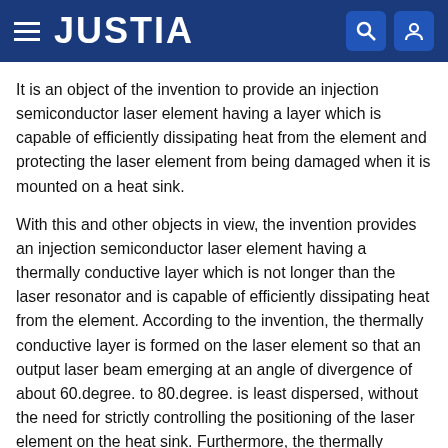JUSTIA
It is an object of the invention to provide an injection semiconductor laser element having a layer which is capable of efficiently dissipating heat from the element and protecting the laser element from being damaged when it is mounted on a heat sink.
With this and other objects in view, the invention provides an injection semiconductor laser element having a thermally conductive layer which is not longer than the laser resonator and is capable of efficiently dissipating heat from the element. According to the invention, the thermally conductive layer is formed on the laser element so that an output laser beam emerging at an angle of divergence of about 60.degree. to 80.degree. is least dispersed, without the need for strictly controlling the positioning of the laser element on the heat sink. Furthermore, the thermally conductive